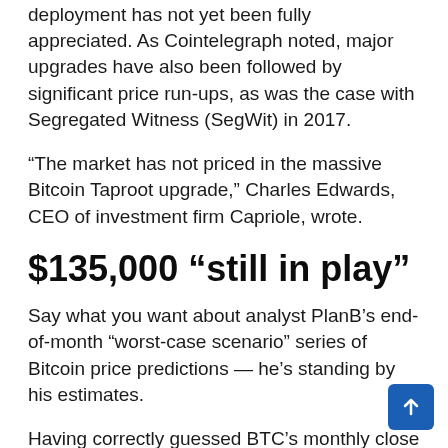deployment has not yet been fully appreciated. As Cointelegraph noted, major upgrades have also been followed by significant price run-ups, as was the case with Segregated Witness (SegWit) in 2017.
“The market has not priced in the massive Bitcoin Taproot upgrade,” Charles Edwards, CEO of investment firm Capriole, wrote.
$135,000 “still in play”
Say what you want about analyst PlanB’s end-of-month “worst-case scenario” series of Bitcoin price predictions — he’s standing by his estimates.
Having correctly guessed BTC’s monthly close almost exactly for three months in a row, PlanB now says that $98,000 by Dec. 1 and $135,000 by Jan